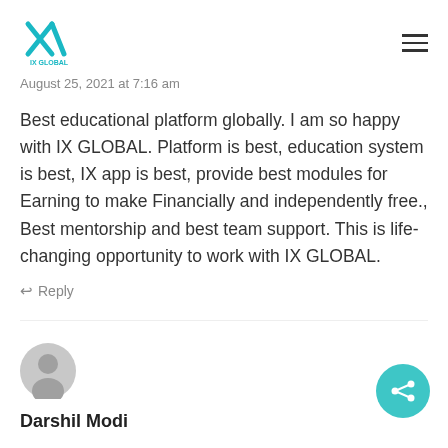[Figure (logo): IX Global teal logo with stylized X mark]
August 25, 2021 at 7:16 am
Best educational platform globally. I am so happy with IX GLOBAL. Platform is best, education system is best, IX app is best, provide best modules for Earning to make Financially and independently free., Best mentorship and best team support. This is life-changing opportunity to work with IX GLOBAL.
Reply
[Figure (illustration): Grey default user avatar circle icon]
Darshil Modi